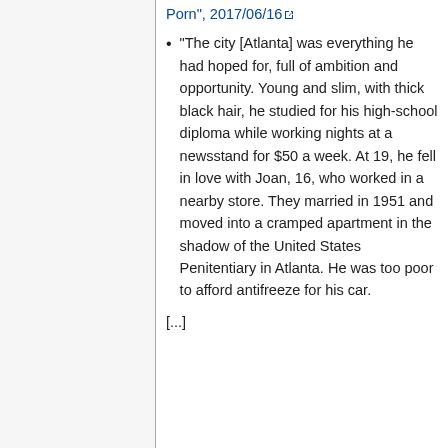Porn", 2017/06/16 [external link]
"The city [Atlanta] was everything he had hoped for, full of ambition and opportunity. Young and slim, with thick black hair, he studied for his high-school diploma while working nights at a newsstand for $50 a week. At 19, he fell in love with Joan, 16, who worked in a nearby store. They married in 1951 and moved into a cramped apartment in the shadow of the United States Penitentiary in Atlanta. He was too poor to afford antifreeze for his car.
[...]